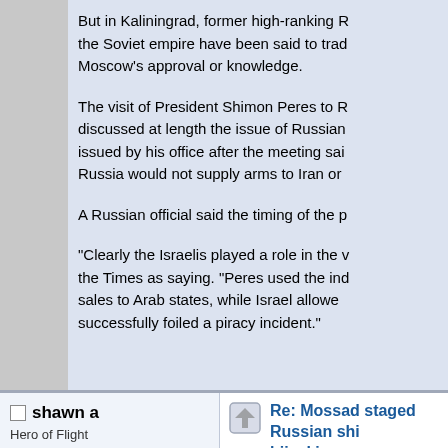But in Kaliningrad, former high-ranking Russian officials from the Soviet empire have been said to trade arms without Moscow's approval or knowledge.

The visit of President Shimon Peres to Russia, discussed at length the issue of Russian arms sales, a statement issued by his office after the meeting said. Russia would not supply arms to Iran or

A Russian official said the timing of the p

"Clearly the Israelis played a role in the v the Times as saying. "Peres used the ind sales to Arab states, while Israel allowed successfully foiled a piracy incident."
shawn a
Hero of Flight
Posts: 898
Country:
Re: Mossad staged Russian ship hijacking
Reply #1 on: November 19, 2009, 07:30:44 A
I was in Moscow at the time of the "hijac The only noteworthy thing I heard was fr underwent significant structural modifica